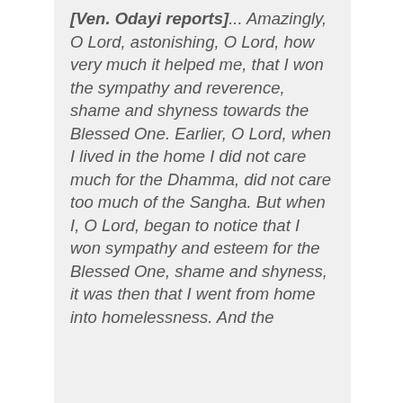[Ven. Odayi reports]... Amazingly, O Lord, astonishing, O Lord, how very much it helped me, that I won the sympathy and reverence, shame and shyness towards the Blessed One. Earlier, O Lord, when I lived in the home I did not care much for the Dhamma, did not care too much of the Sangha. But when I, O Lord, began to notice that I won sympathy and esteem for the Blessed One, shame and shyness, it was then that I went from home into homelessness. And the